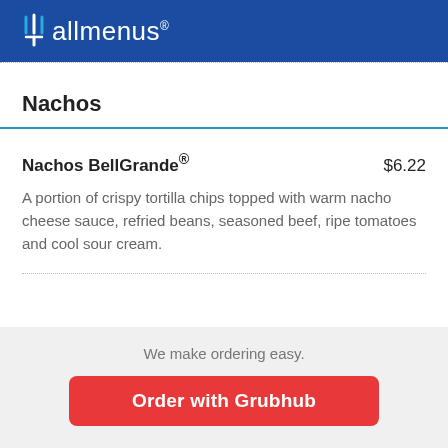allmenus
Nachos
Nachos BellGrande®  $6.22
A portion of crispy tortilla chips topped with warm nacho cheese sauce, refried beans, seasoned beef, ripe tomatoes and cool sour cream.
We make ordering easy.
Order with Grubhub